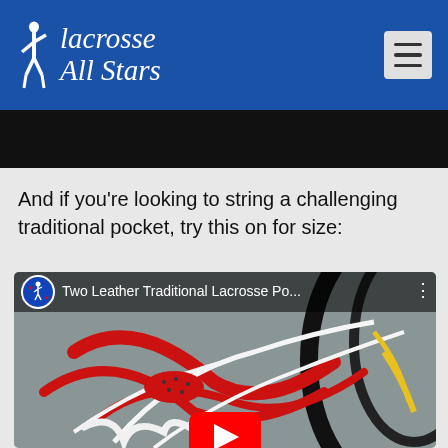Lacrosse All Stars
And if you’re looking to string a challenging traditional pocket, try this on for size:
[Figure (screenshot): YouTube video thumbnail showing a two leather traditional lacrosse pocket with red, white, and yellow strings on a black lacrosse head frame. Video title reads: Two Leather Traditional Lacrosse Po...]